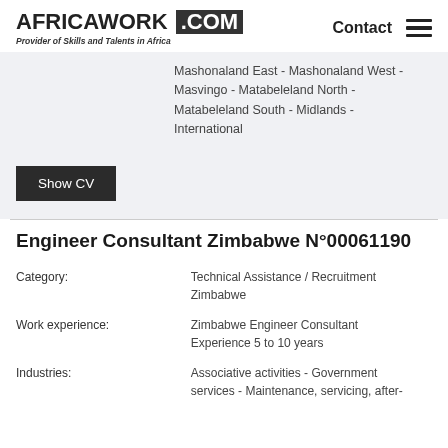AFRICAWORK .COM — Provider of Skills and Talents in Africa | Contact
Mashonaland East - Mashonaland West - Masvingo - Matabeleland North - Matabeleland South - Midlands - International
Show CV
Engineer Consultant Zimbabwe N°00061190
| Field | Value |
| --- | --- |
| Category: | Technical Assistance / Recruitment Zimbabwe |
| Work experience: | Zimbabwe Engineer Consultant Experience 5 to 10 years |
| Industries: | Associative activities - Government services - Maintenance, servicing, after- |